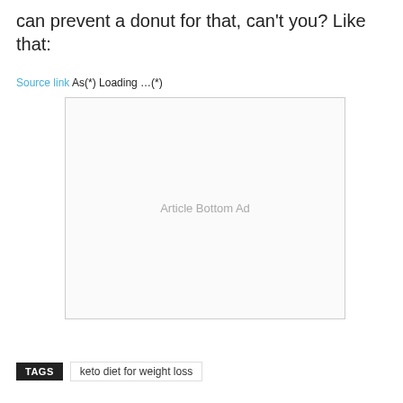can prevent a donut for that, can't you? Like that:
Source link As(*) Loading …(*)
[Figure (other): Article Bottom Ad placeholder box]
TAGS    keto diet for weight loss